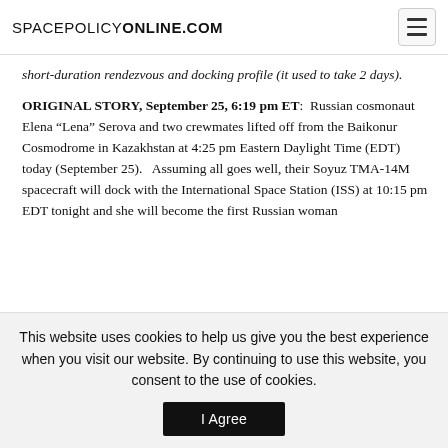SPACEPOLICYONLINE.COM
short-duration rendezvous and docking profile (it used to take 2 days).
ORIGINAL STORY, September 25, 6:19 pm ET: Russian cosmonaut Elena “Lena” Serova and two crewmates lifted off from the Baikonur Cosmodrome in Kazakhstan at 4:25 pm Eastern Daylight Time (EDT) today (September 25). Assuming all goes well, their Soyuz TMA-14M spacecraft will dock with the International Space Station (ISS) at 10:15 pm EDT tonight and she will become the first Russian woman
This website uses cookies to help us give you the best experience when you visit our website. By continuing to use this website, you consent to the use of cookies.